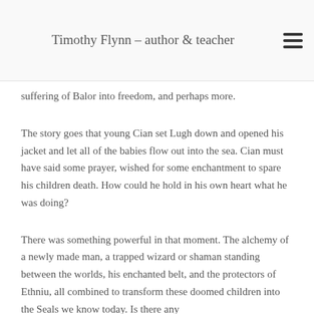Timothy Flynn – author & teacher
suffering of Balor into freedom, and perhaps more.
The story goes that young Cian set Lugh down and opened his jacket and let all of the babies flow out into the sea. Cian must have said some prayer, wished for some enchantment to spare his children death. How could he hold in his own heart what he was doing?
There was something powerful in that moment. The alchemy of a newly made man, a trapped wizard or shaman standing between the worlds, his enchanted belt, and the protectors of Ethniu, all combined to transform these doomed children into the Seals we know today. Is there any